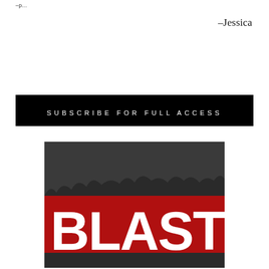–p…
–Jessica
[Figure (other): Black banner with white uppercase text reading 'SUBSCRIBE FOR FULL ACCESS']
[Figure (illustration): Artwork showing the word BLAST in large white bold letters on a red and dark grey/charcoal background with a jagged horizon line between dark grey top and red bottom sections]